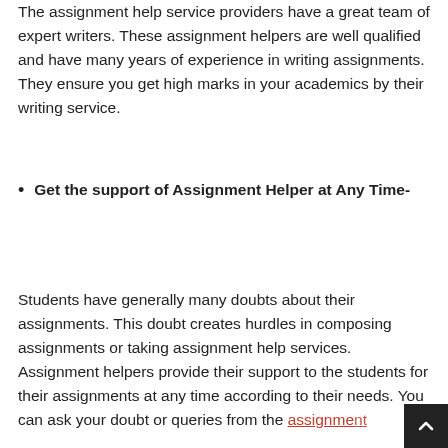The assignment help service providers have a great team of expert writers. These assignment helpers are well qualified and have many years of experience in writing assignments. They ensure you get high marks in your academics by their writing service.
Get the support of Assignment Helper at Any Time-
Students have generally many doubts about their assignments. This doubt creates hurdles in composing assignments or taking assignment help services. Assignment helpers provide their support to the students for their assignments at any time according to their needs. You can ask your doubt or queries from the assignment helpers at any time.